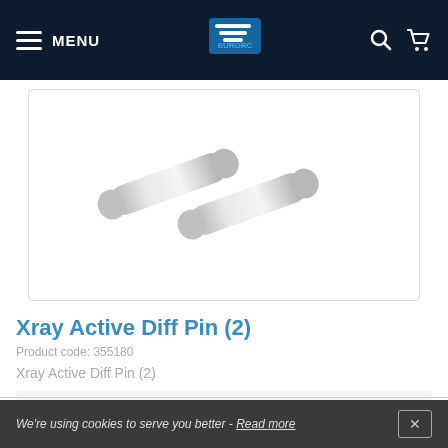MENU [EuroRC logo] [Search] [Cart]
[Figure (photo): Two silver metal cylindrical pins (Xray Active Diff Pins) shown at an angle on a white background inside a bordered box.]
Xray Active Diff Pin (2)
Product code: 355180
Xray Active Diff Pin (2)
4,05 €
Availability
Temporarily out of stock
We're using cookies to serve you better - Read more  ✕